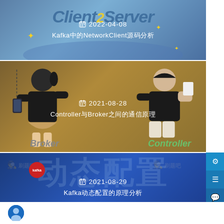[Figure (illustration): Card with Client2Server blue gradient background and text overlay showing date 2022-04-08 and title about Kafka NetworkClient]
2022-04-08 Kafka中的NetworkClient源码分析
[Figure (illustration): Card with golden/brown gradient background showing two person illustrations (Broker and Controller), date 2021-08-28, title about Controller and Broker communication]
2021-08-28 Controller与Broker之间的通信原理
[Figure (illustration): Card with dark blue gradient background, large Chinese text 动态配置, Kafka badge, date 2021-08-29, subtitle about Kafka dynamic configuration]
2021-08-29 Kafka动态配置的原理分析
你是否还在修改本地配置文件？